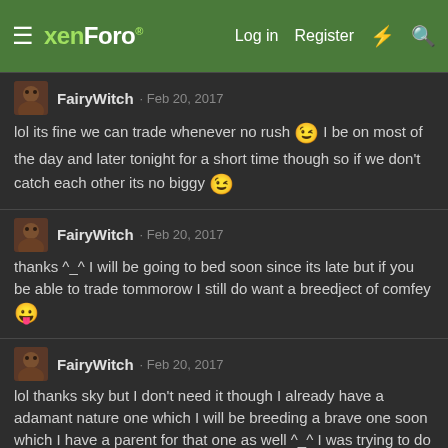xenForo — Log in  Register
FairyWitch · Feb 20, 2017
lol its fine we can trade whenever no rush 😉 I be on most of the day and later tonight for a short time though so if we don't catch each other its no biggy 😉
FairyWitch · Feb 20, 2017
thanks ^_^ I will be going to bed soon since its late but if you be able to trade tommorow I still do want a breedject of comfey 😛
FairyWitch · Feb 20, 2017
lol thanks sky but I don't need it though I already have a adamant nature one which I will be breeding a brave one soon which I have a parent for that one as well ^_^ I was trying to do it with careful nature for smearglerocks but going through the boxes missed I had a litwick XD so were all good thanks ^_^ I already have pursuit now on the grimer as well as shadow sneak. Thank you though for the offer ^_^